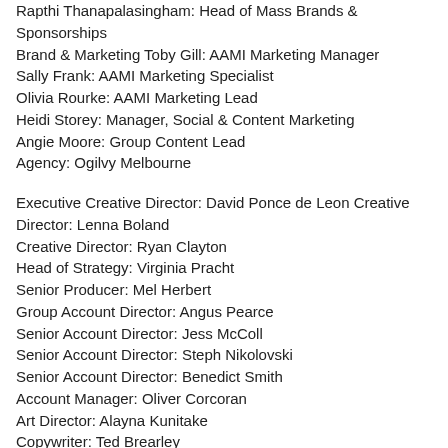Rapthi Thanapalasingham: Head of Mass Brands & Sponsorships Brand & Marketing Toby Gill: AAMI Marketing Manager Sally Frank: AAMI Marketing Specialist Olivia Rourke: AAMI Marketing Lead Heidi Storey: Manager, Social & Content Marketing Angie Moore: Group Content Lead Agency: Ogilvy Melbourne
Executive Creative Director: David Ponce de Leon Creative Director: Lenna Boland Creative Director: Ryan Clayton Head of Strategy: Virginia Pracht Senior Producer: Mel Herbert Group Account Director: Angus Pearce Senior Account Director: Jess McColl Senior Account Director: Steph Nikolovski Senior Account Director: Benedict Smith Account Manager: Oliver Corcoran Art Director: Alayna Kunitake Copywriter: Ted Brearley Social Creatives: Julia Stretch & Robbie Ten Eyck Head of Print Production & Studio: Brendan Hanrahan Director: Uncle Friendly